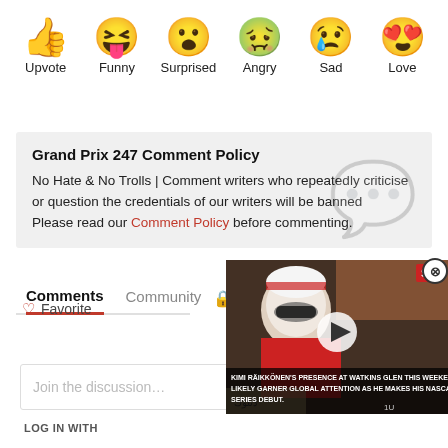[Figure (infographic): Row of six emoji reaction icons with labels: Upvote (thumbs up), Funny (laughing with tongue), Surprised (eyes wide open), Angry (mask crying), Sad (crying face), Love (heart eyes)]
Grand Prix 247 Comment Policy
No Hate & No Trolls | Comment writers who repeatedly criticise or question the credentials of our writers will be banned
Please read our Comment Policy before commenting.
Comments   Community   🔒
♡ Favorite
[Figure (screenshot): Video thumbnail showing a racing driver (Kimi Raikkonen) at Watkins Glen with caption about NASCAR Cup Series debut, SI logo in top right, play button overlay]
Join the discussion…
LOG IN WITH